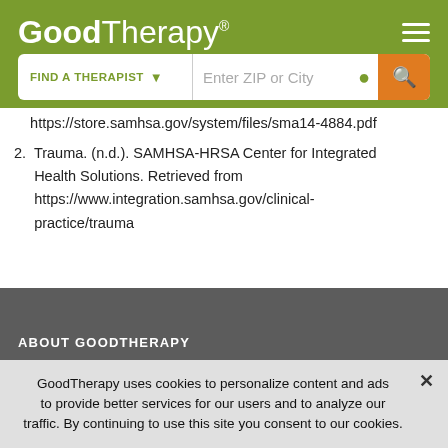GoodTherapy® [hamburger menu]
[Figure (screenshot): Search bar with FIND A THERAPIST dropdown, Enter ZIP or City input, location icon, and orange search button]
https://store.samhsa.gov/system/files/sma14-4884.pdf
2. Trauma. (n.d.). SAMHSA-HRSA Center for Integrated Health Solutions. Retrieved from https://www.integration.samhsa.gov/clinical-practice/trauma
ABOUT GOODTHERAPY
GoodTherapy uses cookies to personalize content and ads to provide better services for our users and to analyze our traffic. By continuing to use this site you consent to our cookies.